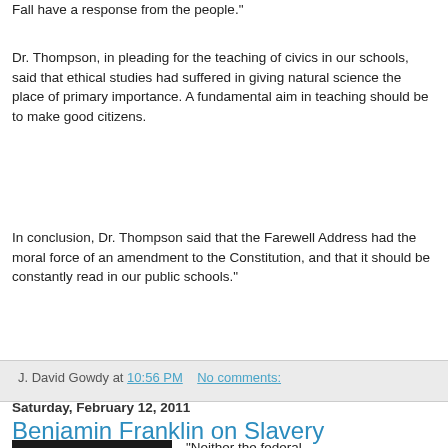Fall have a response from the people."
Dr. Thompson, in pleading for the teaching of civics in our schools, said that ethical studies had suffered in giving natural science the place of primary importance. A fundamental aim in teaching should be to make good citizens.
In conclusion, Dr. Thompson said that the Farewell Address had the moral force of an amendment to the Constitution, and that it should be constantly read in our public schools."
J. David Gowdy at 10:56 PM   No comments:
Saturday, February 12, 2011
Benjamin Franklin on Slavery
"Neither the federal